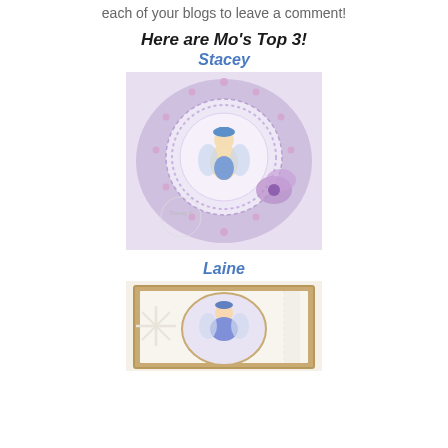each of your blogs to leave a comment!
Here are Mo's Top 3!
Stacey
[Figure (photo): A decorative handmade card with lavender/purple doily-style scalloped edges, a central circular lace design with a fairy/bug character wearing a blue hat in the center, and a purple fabric flower embellishment on the right. Watermark reads Stacey S.]
Laine
[Figure (photo): A handmade card with golden/tan matting, white snowflake die-cuts on the left, a central oval frame containing a fairy character in a blue and purple dress, and lace/ribbon detail on the right side.]